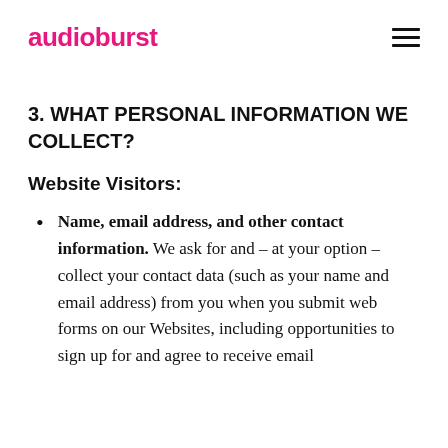audioburst
3. WHAT PERSONAL INFORMATION WE COLLECT?
Website Visitors:
Name, email address, and other contact information. We ask for and – at your option – collect your contact data (such as your name and email address) from you when you submit web forms on our Websites, including opportunities to sign up for and agree to receive email